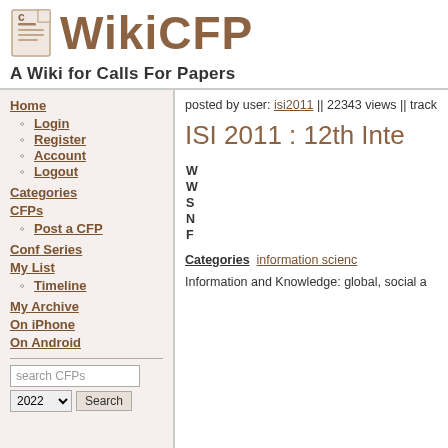[Figure (logo): WikiCFP logo with document icon and text]
A Wiki for Calls For Papers
Home
Login
Register
Account
Logout
Categories
CFPs
Post a CFP
Conf Series
My List
Timeline
My Archive
On iPhone
On Android
posted by user: isi2011 || 22343 views || track
ISI 2011 : 12th Inte
| Field | Value |
| --- | --- |
| W |  |
| W |  |
| S |  |
| N |  |
| F |  |
Categories   information scienc
Information and Knowledge: global, social a